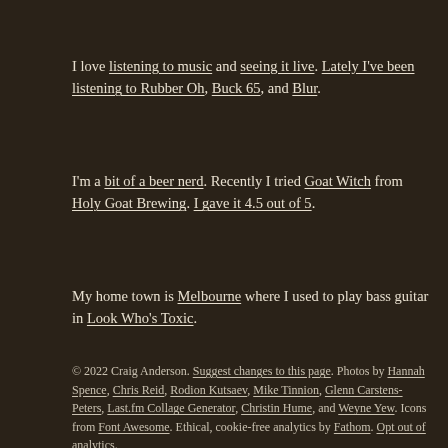I love listening to music and seeing it live. Lately I've been listening to Rubber Oh, Buck 65, and Blur.
I'm a bit of a beer nerd. Recently I tried Goat Witch from Holy Goat Brewing. I gave it 4.5 out of 5.
My home town is Melbourne where I used to play bass guitar in Look Who's Toxic.
© 2022 Craig Anderson. Suggest changes to this page. Photos by Hannah Spence, Chris Reid, Rodion Kutsaev, Mike Tinnion, Glenn Carstens-Peters, Last.fm Collage Generator, Christin Hume, and Weyne Yew. Icons from Font Awesome. Ethical, cookie-free analytics by Fathom. Opt out of analytics.